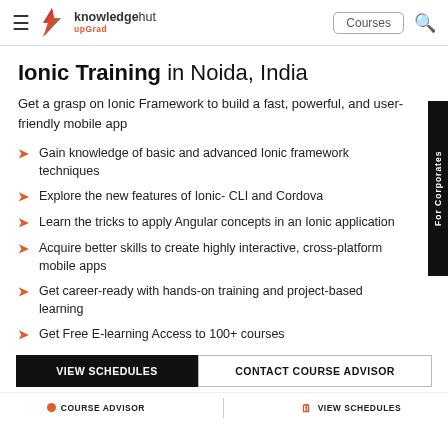KnowledgeHut upGrad | Courses
Ionic Training in Noida, India
Get a grasp on Ionic Framework to build a fast, powerful, and user-friendly mobile app
Gain knowledge of basic and advanced Ionic framework techniques
Explore the new features of Ionic- CLI and Cordova
Learn the tricks to apply Angular concepts in an Ionic application
Acquire better skills to create highly interactive, cross-platform mobile apps
Get career-ready with hands-on training and project-based learning
Get Free E-learning Access to 100+ courses